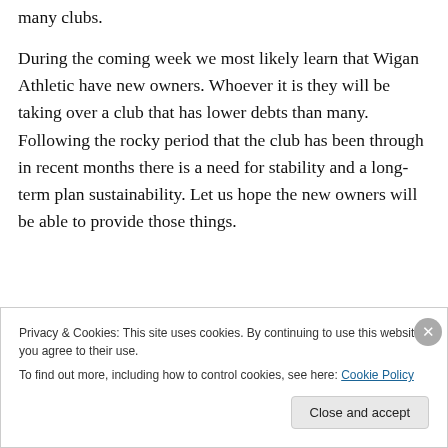many clubs.
During the coming week we most likely learn that Wigan Athletic have new owners. Whoever it is they will be taking over a club that has lower debts than many. Following the rocky period that the club has been through in recent months there is a need for stability and a long-term plan sustainability. Let us hope the new owners will be able to provide those things.
Privacy & Cookies: This site uses cookies. By continuing to use this website, you agree to their use.
To find out more, including how to control cookies, see here: Cookie Policy